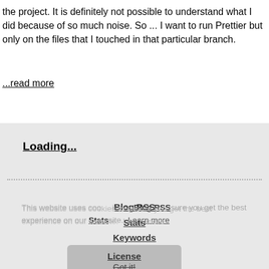the project. It is definitely not possible to understand what I did because of so much noise. So ... I want to run Prettier but only on the files that I touched in that particular branch.
...read more
Loading...
Blog RSS
Stats
Keywords
License
This website uses cookies to ensure you get the best experience on our website.  Learn more
Got it!